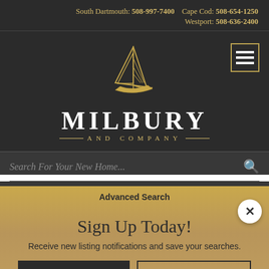South Dartmouth: 508-997-7400   Cape Cod: 508-654-1250   Westport: 508-636-2400
[Figure (logo): Milbury and Company logo with sailboat illustration in gold on dark background, with text MILBURY AND COMPANY]
Search For Your New Home...
Advanced Search
Sign Up Today!
Receive new listing notifications and save your searches.
SIGN UP   LOG IN